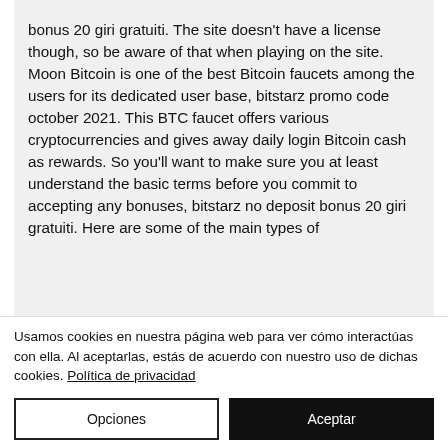bonus 20 giri gratuiti. The site doesn't have a license though, so be aware of that when playing on the site. Moon Bitcoin is one of the best Bitcoin faucets among the users for its dedicated user base, bitstarz promo code october 2021. This BTC faucet offers various cryptocurrencies and gives away daily login Bitcoin cash as rewards. So you'll want to make sure you at least understand the basic terms before you commit to accepting any bonuses, bitstarz no deposit bonus 20 giri gratuiti. Here are some of the main types of
Usamos cookies en nuestra página web para ver cómo interactúas con ella. Al aceptarlas, estás de acuerdo con nuestro uso de dichas cookies. Política de privacidad
Opciones
Aceptar